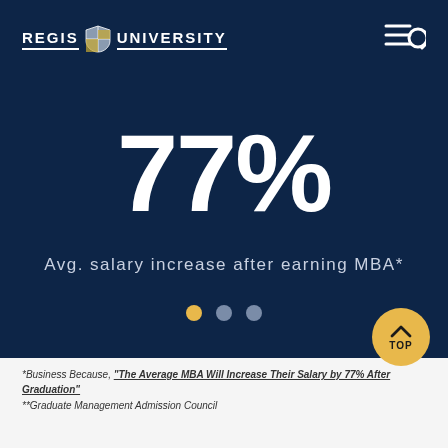[Figure (logo): Regis University logo with shield emblem and text REGIS UNIVERSITY in white on dark navy background]
77%
Avg. salary increase after earning MBA*
[Figure (infographic): Three carousel indicator dots: first dot gold/active, second and third dots grey/inactive]
[Figure (infographic): Gold circular TOP button with upward chevron arrow]
*Business Because, "The Average MBA Will Increase Their Salary by 77% After Graduation"
**Graduate Management Admission Council